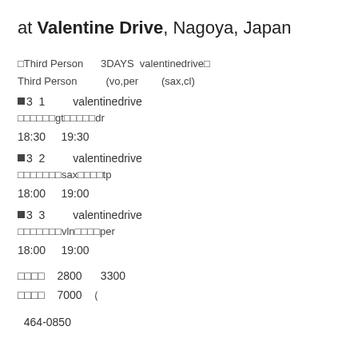at Valentine Drive, Nagoya, Japan
□Third Person　　3DAYS　valentinedrive□
Third Person　　　　(vo,per　　(sax,cl)
■3　1　　　valentinedrive
□□□□□□□gt□□□□□dr
18:30　19:30
■3　2　　　valentinedrive
□□□□□□□sax□□□□tp
18:00　19:00
■3　3　　　valentinedrive
□□□□□□□vln□□□□per
18:00　19:00
□□□□　2800　　3300
□□□□　7000　（
464-0850